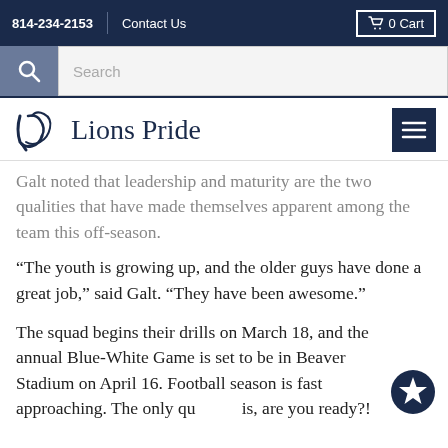814-234-2153   Contact Us   0 Cart
Search
Lions Pride
Galt noted that leadership and maturity are the two qualities that have made themselves apparent among the team this off-season.
“The youth is growing up, and the older guys have done a great job,” said Galt. “They have been awesome.”
The squad begins their drills on March 18, and the annual Blue-White Game is set to be in Beaver Stadium on April 16. Football season is fast approaching. The only qu is, are you ready?!